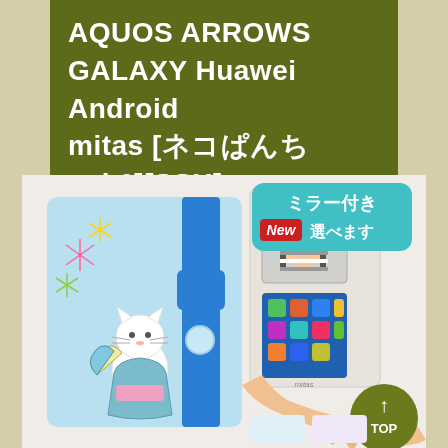AQUOS ARROWS GALAXY Huawei Android mitas [ネコぱんち vol.6][SSH]
[Figure (photo): Product photo of a phone case with cat illustration in yukata (summer kimono) with fan and fireworks design on light blue background, shown open and closed. The open case has a mirror window. A teal badge reads 'ミラー付き New 選べます'. An olive green TOP button with upward arrow is in the bottom right corner.]